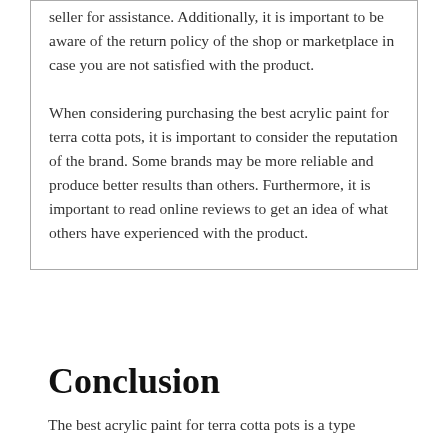seller for assistance. Additionally, it is important to be aware of the return policy of the shop or marketplace in case you are not satisfied with the product.
When considering purchasing the best acrylic paint for terra cotta pots, it is important to consider the reputation of the brand. Some brands may be more reliable and produce better results than others. Furthermore, it is important to read online reviews to get an idea of what others have experienced with the product.
Conclusion
The best acrylic paint for terra cotta pots is a type